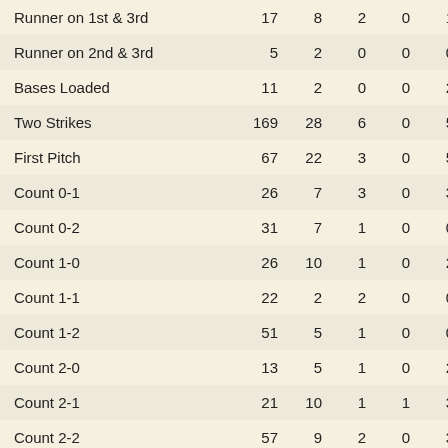| Runner on 1st & 3rd | 17 | 8 | 2 | 0 | 1 |
| Runner on 2nd & 3rd | 5 | 2 | 0 | 0 | 0 |
| Bases Loaded | 11 | 2 | 0 | 0 | 2 |
| Two Strikes | 169 | 28 | 6 | 0 | 5 |
| First Pitch | 67 | 22 | 3 | 0 | 5 |
| Count 0-1 | 26 | 7 | 3 | 0 | 3 |
| Count 0-2 | 31 | 7 | 1 | 0 | 0 |
| Count 1-0 | 26 | 10 | 1 | 0 | 2 |
| Count 1-1 | 22 | 2 | 2 | 0 | 0 |
| Count 1-2 | 51 | 5 | 1 | 0 | 0 |
| Count 2-0 | 13 | 5 | 1 | 0 | 2 |
| Count 2-1 | 21 | 10 | 1 | 1 | 3 |
| Count 2-2 | 57 | 9 | 2 | 0 | 3 |
| Count 3-0 | 2 | 2 | 0 | 0 | 1 |
| Count 3-1 | 5 | 3 | 1 | 0 | 1 |
| Full Count | 30 | 7 | 2 | 0 | 2 |
| Behind in Count | 108 | 19 | 5 | 0 | 3 |
| Ahead in Count | 67 | 30 | 4 | 1 | 9 |
| Batting 2nd | 12 | 2 | 1 | 0 | 0 |
| Batting 3rd | 27 | 2 | 0 | 0 | 1 |
| Batting 4th | 102 | 26 | 4 | 0 | 6 |